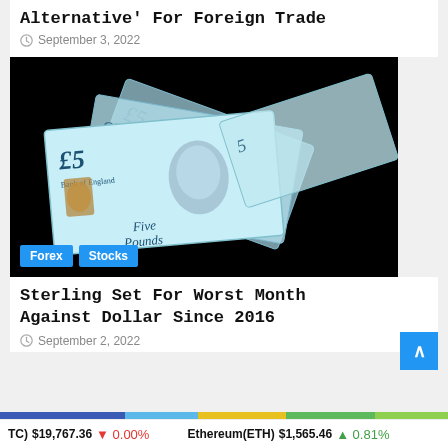Alternative' For Foreign Trade
September 3, 2022
[Figure (photo): Multiple UK Five Pound banknotes fanned out against a black background. Forex and Stocks category tags visible at bottom left.]
Forex  Stocks
Sterling Set For Worst Month Against Dollar Since 2016
September 2, 2022
TC) $19,767.36 0.00%   Ethereum(ETH) $1,565.46 0.81%